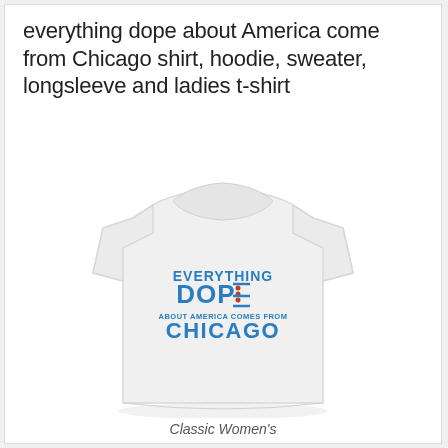everything dope about America come from Chicago shirt, hoodie, sweater, longsleeve and ladies t-shirt
[Figure (illustration): A white classic women's fitted t-shirt displaying the text 'EVERYTHING DOPE ABOUT AMERICA COMES FROM CHICAGO' in blue and red lettering on the chest area.]
Classic Women's